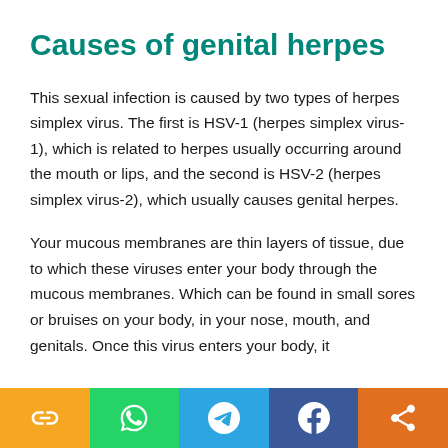Causes of genital herpes
This sexual infection is caused by two types of herpes simplex virus. The first is HSV-1 (herpes simplex virus-1), which is related to herpes usually occurring around the mouth or lips, and the second is HSV-2 (herpes simplex virus-2), which usually causes genital herpes.
Your mucous membranes are thin layers of tissue, due to which these viruses enter your body through the mucous membranes. Which can be found in small sores or bruises on your body, in your nose, mouth, and genitals. Once this virus enters your body, it